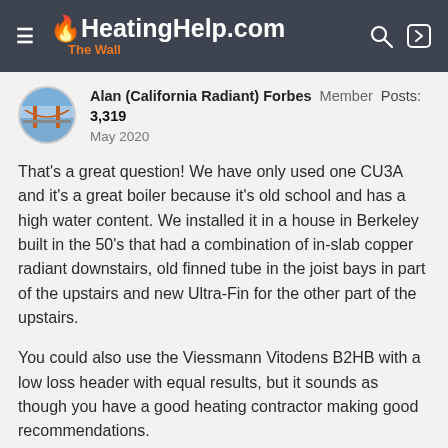HeatingHelp.com The Wall
Alan (California Radiant) Forbes   Member   Posts: 3,319
May 2020
That's a great question! We have only used one CU3A and it's a great boiler because it's old school and has a high water content. We installed it in a house in Berkeley built in the 50's that had a combination of in-slab copper radiant downstairs, old finned tube in the joist bays in part of the upstairs and new Ultra-Fin for the other part of the upstairs.
You could also use the Viessmann Vitodens B2HB with a low loss header with equal results, but it sounds as though you have a good heating contractor making good recommendations.